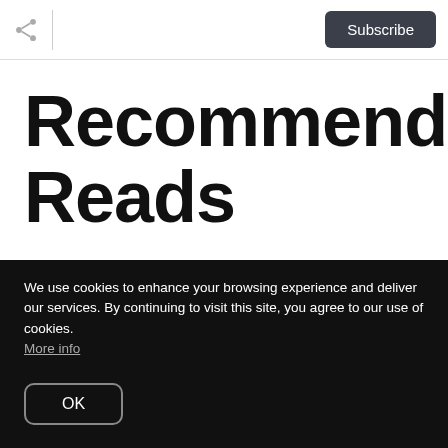Subscribe
Recommended Reads
We use cookies to enhance your browsing experience and deliver our services. By continuing to visit this site, you agree to our use of cookies. More info
OK